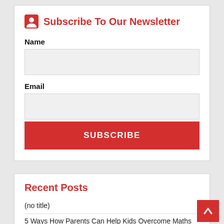Subscribe To Our Newsletter
Name
Email
SUBSCRIBE
Recent Posts
(no title)
5 Ways How Parents Can Help Kids Overcome Maths Phobia